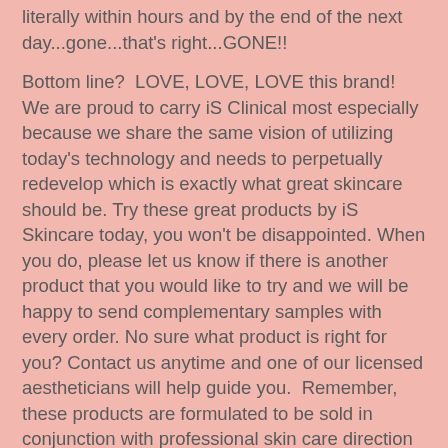literally within hours and by the end of the next day...gone...that's right...GONE!!
Bottom line?  LOVE, LOVE, LOVE this brand!  We are proud to carry iS Clinical most especially because we share the same vision of utilizing today's technology and needs to perpetually redevelop which is exactly what great skincare should be. Try these great products by iS Skincare today, you won't be disappointed. When you do, please let us know if there is another product that you would like to try and we will be happy to send complementary samples with every order. No sure what product is right for you? Contact us anytime and one of our licensed aestheticians will help guide you.  Remember, these products are formulated to be sold in conjunction with professional skin care direction and consultation and that's what we're here for!
It's our 3rd week in our 12 Brands of Christmas campaign and man are we having fun!  I LOVE giving away all of these amazing products, samples, and gifts and just think...there is SO much MORE!!!  We will be giving away 2 iS Clinical kits. The first kit is the iS Clinical Acne kit which includes Acne